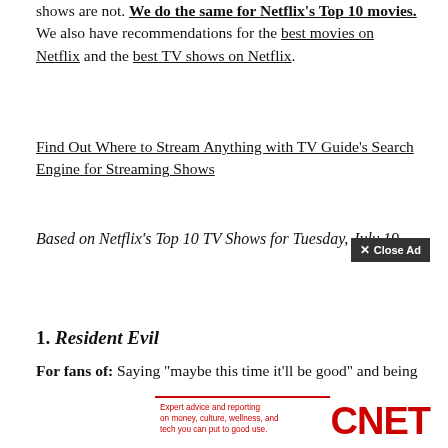shows are not. We do the same for Netflix's Top 10 movies. We also have recommendations for the best movies on Netflix and the best TV shows on Netflix.
Find Out Where to Stream Anything with TV Guide's Search Engine for Streaming Shows
Based on Netflix's Top 10 TV Shows for Tuesday, July 19
1. Resident Evil
For fans of: Saying "maybe this time it'll be good" and being disappointed Us: Not even